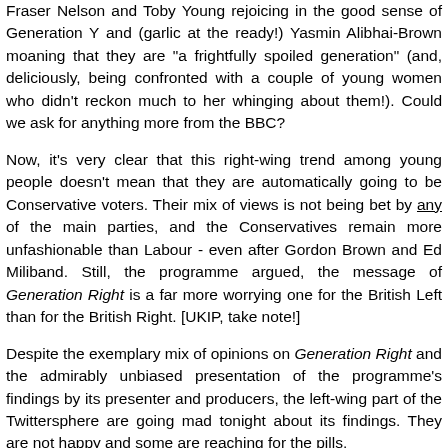Fraser Nelson and Toby Young rejoicing in the good sense of Generation Y and (garlic at the ready!) Yasmin Alibhai-Brown moaning that they are "a frightfully spoiled generation" (and, deliciously, being confronted with a couple of young women who didn't reckon much to her whinging about them!). Could we ask for anything more from the BBC?
Now, it's very clear that this right-wing trend among young people doesn't mean that they are automatically going to be Conservative voters. Their mix of views is not being bet by any of the main parties, and the Conservatives remain more unfashionable than Labour - even after Gordon Brown and Ed Miliband. Still, the programme argued, the message of Generation Right is a far more worrying one for the British Left than for the British Right. [UKIP, take note!]
Despite the exemplary mix of opinions on Generation Right and the admirably unbiased presentation of the programme's findings by its presenter and producers, the left-wing part of the Twittersphere are going mad tonight about its findings. They are not happy and some are reaching for the pills.
Well, to cut to a piece from Generation Y. I do belly...